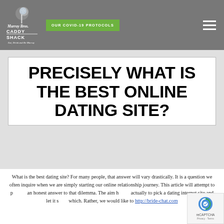[Figure (logo): Murray Bros Caddy Shack logo with golf ball and text 'Eat, Drink and Be Murray']
OUR COVID-19 PROTOCOLS
PRECISELY WHAT IS THE BEST ONLINE DATING SITE?
What is the best dating site? For many people, that answer will vary drastically. It is a question we often inquire when we are simply starting our online relationship journey. This article will attempt to provide an honest answer to that dilemma. The aim here is not actually to pick a dating internet site and let it stand alone which. Rather, we would like to http://bride-chat.com